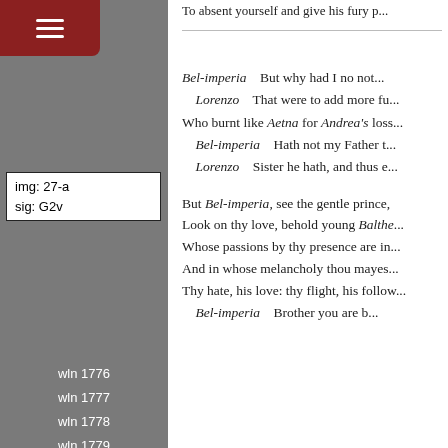To absent yourself and give his fury p...
img: 27-a
sig: G2v
wln 1776
wln 1777
wln 1778
wln 1779
wln 1780
wln 1781
wln 1782
wln 1783
wln 1784
wln 1785
wln 1786
wln 1787
Bel-imperia    But why had I no no...
Lorenzo    That were to add more fu...
Who burnt like Aetna for Andrea's loss...
Bel-imperia    Hath not my Father t...
Lorenzo    Sister he hath, and thus e...
But Bel-imperia, see the gentle prince,
Look on thy love, behold young Balthe...
Whose passions by thy presence are in...
And in whose melancholy thou mayes...
Thy hate, his love: thy flight, his follow...
Bel-imperia    Brother you are b...